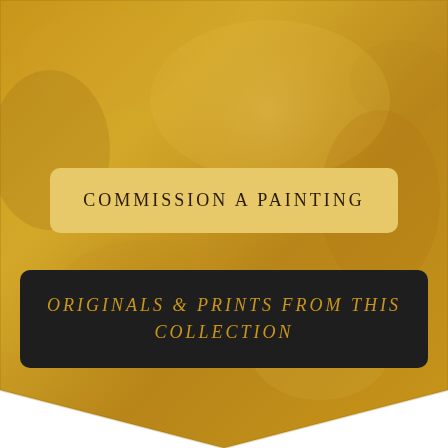[Figure (illustration): Gold/amber textured background with a downward-pointing pennant/banner shape in the same gold texture. The shape has a V-notch cut at the bottom center creating a decorative banner or bookmark silhouette.]
COMMISSION A PAINTING
ORIGINALS & PRINTS FROM THIS COLLECTION